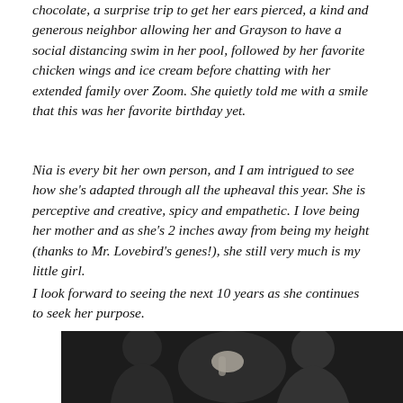chocolate, a surprise trip to get her ears pierced, a kind and generous neighbor allowing her and Grayson to have a social distancing swim in her pool, followed by her favorite chicken wings and ice cream before chatting with her extended family over Zoom. She quietly told me with a smile that this was her favorite birthday yet.
Nia is every bit her own person, and I am intrigued to see how she's adapted through all the upheaval this year. She is perceptive and creative, spicy and empathetic. I love being her mother and as she's 2 inches away from being my height (thanks to Mr. Lovebird's genes!), she still very much is my little girl.
I look forward to seeing the next 10 years as she continues to seek her purpose.
[Figure (photo): A dark photo showing two people in profile/silhouette, one appearing to touch or whisper near the other's ear.]